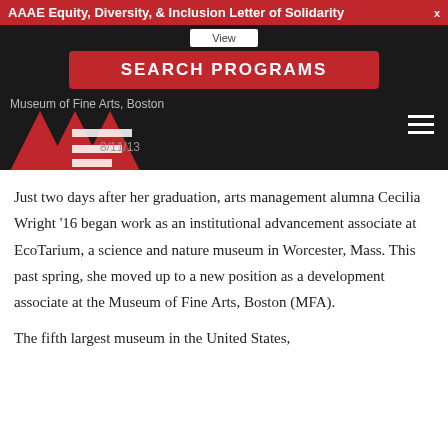AAAE Equity, Diversity, & Inclusion Letter of Solidarity  x
[Figure (screenshot): AAAE website navigation area with red SEARCH PROGRAMS button, logo, and hamburger menu on dark background]
Just two days after her graduation, arts management alumna Cecilia Wright '16 began work as an institutional advancement associate at EcoTarium, a science and nature museum in Worcester, Mass. This past spring, she moved up to a new position as a development associate at the Museum of Fine Arts, Boston (MFA).
The fifth largest museum in the United States,